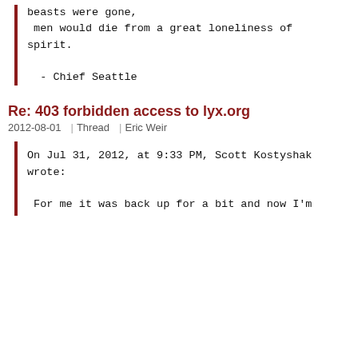beasts were gone,
 men would die from a great loneliness of spirit.

  - Chief Seattle
Re: 403 forbidden access to lyx.org
2012-08-01  |  Thread  |  Eric Weir
On Jul 31, 2012, at 9:33 PM, Scott Kostyshak wrote:

 For me it was back up for a bit and now I'm